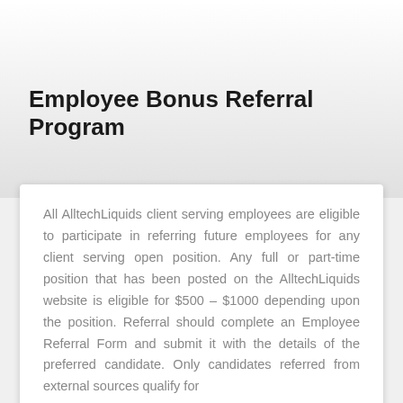Employee Bonus Referral Program
All AlltechLiquids client serving employees are eligible to participate in referring future employees for any client serving open position. Any full or part-time position that has been posted on the AlltechLiquids website is eligible for $500 – $1000 depending upon the position. Referral should complete an Employee Referral Form and submit it with the details of the preferred candidate. Only candidates referred from external sources qualify for the bonus program and the referral bonus.